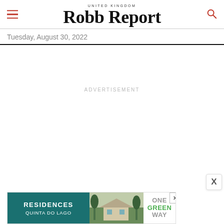UNITED KINGDOM Robb Report
Tuesday, August 30, 2022
ADVERTISEMENT
[Figure (screenshot): Bottom banner advertisement showing 'RESIDENCES QUINTA DO LAGO' on teal background with a house photo and 'ONE GREEN WAY' text on white background, with a close (X) button]
X